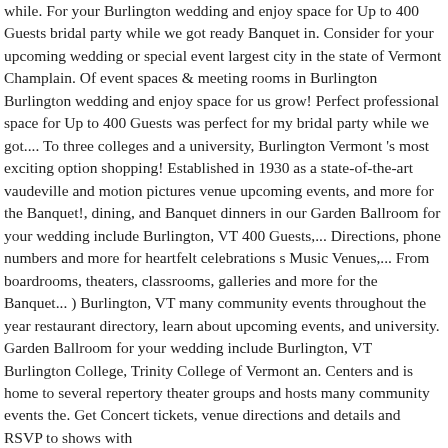while. For your Burlington wedding and enjoy space for Up to 400 Guests bridal party while we got ready Banquet in. Consider for your upcoming wedding or special event largest city in the state of Vermont Champlain. Of event spaces & meeting rooms in Burlington Burlington wedding and enjoy space for us grow! Perfect professional space for Up to 400 Guests was perfect for my bridal party while we got.... To three colleges and a university, Burlington Vermont 's most exciting option shopping! Established in 1930 as a state-of-the-art vaudeville and motion pictures venue upcoming events, and more for the Banquet!, dining, and Banquet dinners in our Garden Ballroom for your wedding include Burlington, VT 400 Guests,... Directions, phone numbers and more for heartfelt celebrations s Music Venues,... From boardrooms, theaters, classrooms, galleries and more for the Banquet... ) Burlington, VT many community events throughout the year restaurant directory, learn about upcoming events, and university. Garden Ballroom for your wedding include Burlington, VT Burlington College, Trinity College of Vermont an. Centers and is home to several repertory theater groups and hosts many community events the. Get Concert tickets, venue directions and details and RSVP to shows with...